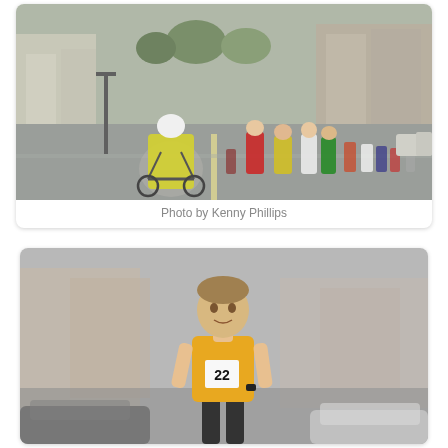[Figure (photo): A cycling official in a yellow jacket riding a bicycle leads a large group of runners down a wet road in a town street race. Buildings and parked cars visible in background.]
Photo by Kenny Phillips
[Figure (photo): A male runner wearing a yellow vest with race number 22 running on a road with cars and buildings in the blurred background.]